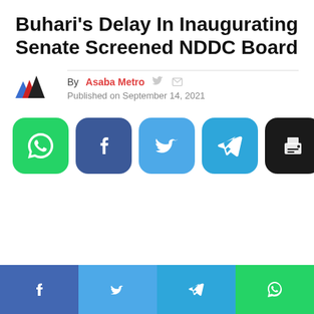Buhari's Delay In Inaugurating Senate Screened NDDC Board
By Asaba Metro   Published on September 14, 2021
[Figure (infographic): Social share buttons: WhatsApp (green), Facebook (dark blue), Twitter (light blue), Telegram (blue), Print (black)]
Facebook | Twitter | Telegram | WhatsApp